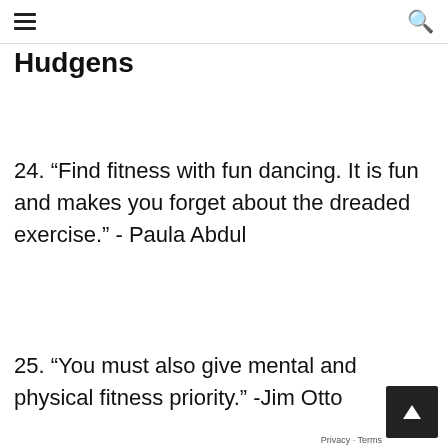☰ 🔍
Hudgens
24. “Find fitness with fun dancing. It is fun and makes you forget about the dreaded exercise.” - Paula Abdul
25. “You must also give mental and physical fitness priority.” -Jim Otto